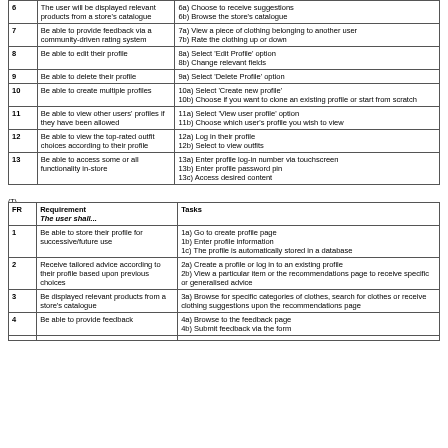| FR | Requirement | Tasks |
| --- | --- | --- |
| 6 | The user will be displayed relevant products from a store's catalogue | 6a) Choose to receive suggestions
6b) Browse the store's catalogue |
| 7 | Be able to provide feedback via a community-driven rating system | 7a) View a piece of clothing belonging to another user
7b) Rate the clothing up or down |
| 8 | Be able to edit their profile | 8a) Select 'Edit Profile' option
8b) Change relevant fields |
| 9 | Be able to delete their profile | 9a) Select 'Delete Profile' option |
| 10 | Be able to create multiple profiles | 10a) Select 'Create new profile'
10b) Choose if you want to clone an existing profile or start from scratch |
| 11 | Be able to view other users' profiles if they have been allowed | 11a) Select 'View user profile' option
11b) Choose which user's profile you wish to view |
| 12 | Be able to view the top-rated outfit choices according to their profile | 12a) Log in their profile
12b) Select to view outfits |
| 13 | Be able to access some or all functionality in-store | 13a) Enter profile log-in number via touchscreen
13b) Enter profile password pin
13c) Access desired content |
(T)
| FR | Requirement
The user shall... | Tasks |
| --- | --- | --- |
| 1 | Be able to store their profile for successive/future use | 1a) Go to create profile page
1b) Enter profile information
1c) The profile is automatically stored in a database |
| 2 | Receive tailored advice according to their profile based upon previous choices | 2a) Create a profile or log in to an existing profile
2b) View a particular item or the recommendations page to receive specific or generalised advice |
| 3 | Be displayed relevant products from a store's catalogue | 3a) Browse for specific categories of clothes, search for clothes or receive clothing suggestions upon the recommendations page |
| 4 | Be able to provide feedback | 4a) Browse to the feedback page
4b) Submit feedback via the form |
| 5 | ... | 5a) ... |